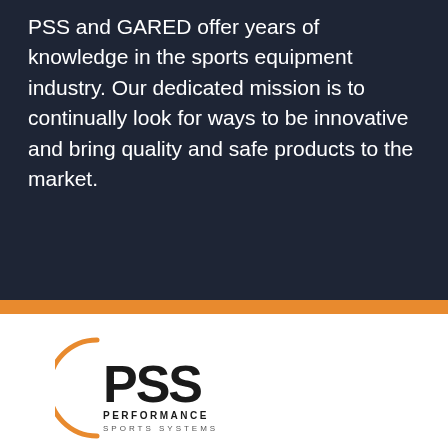PSS and GARED offer years of knowledge in the sports equipment industry. Our dedicated mission is to continually look for ways to be innovative and bring quality and safe products to the market.
[Figure (logo): PSS Performance Sports Systems logo — circular orange arc on left side, bold black PSS letters, smaller text PERFORMANCE SPORTS SYSTEMS below]